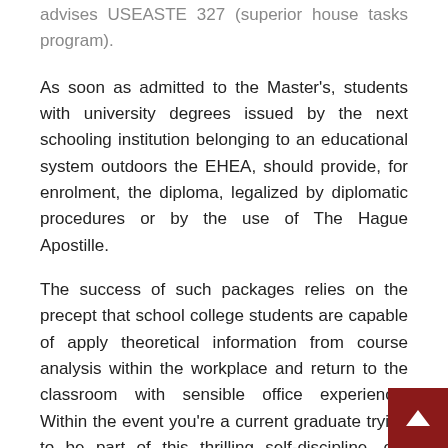advises USEASTE 327 (superior house tasks program).
As soon as admitted to the Master's, students with university degrees issued by the next schooling institution belonging to an educational system outdoors the EHEA, should provide, for enrolment, the diploma, legalized by diplomatic procedures or by the use of The Hague Apostille.
The success of such packages relies on the precept that school college students are capable of apply theoretical information from course analysis within the workplace and return to the classroom with sensible office experience. Within the event you're a current graduate trying to be part of this thrilling self-discipline, our revolutionary program will provide you with the superior information management and communications experience you need.